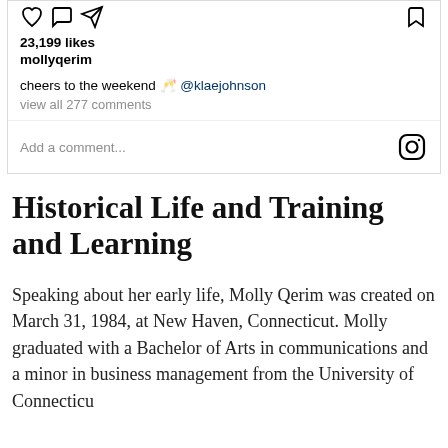[Figure (screenshot): Instagram post UI showing like count, username mollyqerim, caption 'cheers to the weekend @klaejohnson', view all 277 comments, and Add a comment field with Instagram logo icon]
Historical Life and Training and Learning
Speaking about her early life, Molly Qerim was created on March 31, 1984, at New Haven, Connecticut. Molly graduated with a Bachelor of Arts in communications and a minor in business management from the University of Connecticut